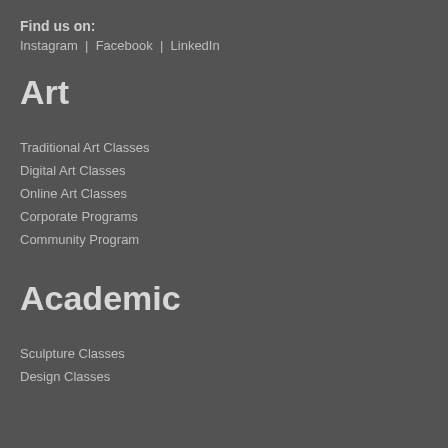Find us on:
Instagram  |  Facebook  |  LinkedIn
Art
Traditional Art Classes
Digital Art Classes
Online Art Classes
Corporate Programs
Community Program
Academic
Sculpture Classes
Design Classes